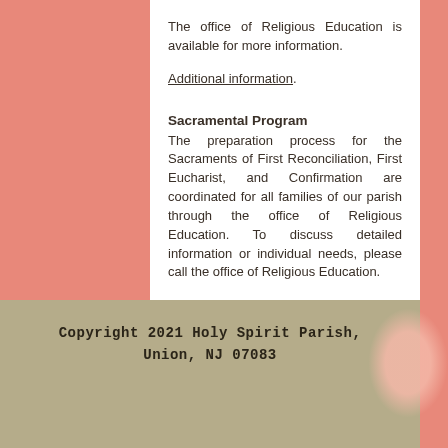The office of Religious Education is available for more information.
Additional information.
Sacramental Program
The preparation process for the Sacraments of First Reconciliation, First Eucharist, and Confirmation are coordinated for all families of our parish through the office of Religious Education. To discuss detailed information or individual needs, please call the office of Religious Education.
Copyright 2021 Holy Spirit Parish, Union, NJ 07083